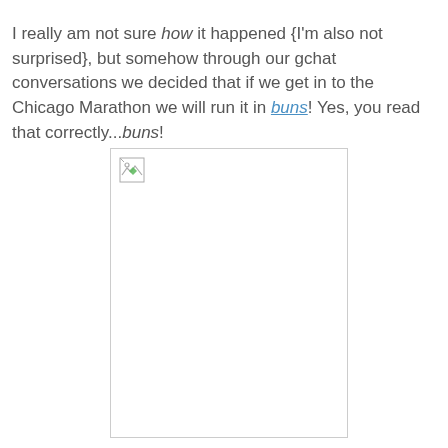I really am not sure how it happened {I'm also not surprised}, but somehow through our gchat conversations we decided that if we get in to the Chicago Marathon we will run it in buns! Yes, you read that correctly...buns!
[Figure (photo): A broken/missing image placeholder with a small broken image icon in the top-left corner, bordered with a light gray rectangle]